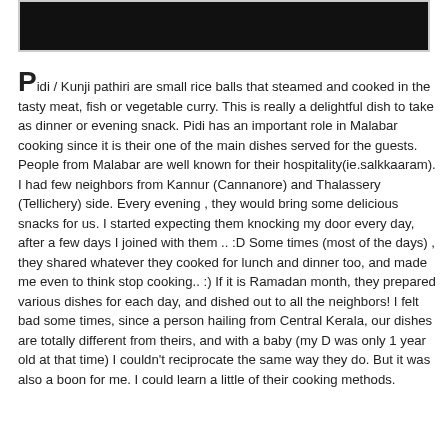[Figure (photo): A dark/black photograph at the top of the page, partially visible, showing a food dish.]
Pidi / Kunji pathiri are small rice balls that steamed and cooked in the tasty meat, fish or vegetable curry. This is really a delightful dish to take as dinner or evening snack. Pidi has an important role in Malabar cooking since it is their one of the main dishes served for the guests. People from Malabar are well known for their hospitality(ie.salkkaaram). I had few neighbors from Kannur (Cannanore) and Thalassery (Tellichery) side. Every evening , they would bring some delicious snacks for us. I started expecting them knocking my door every day, after a few days I joined with them .. :D Some times (most of the days) , they shared whatever they cooked for lunch and dinner too, and made me even to think stop cooking.. :) If it is Ramadan month, they prepared various dishes for each day, and dished out to all the neighbors! I felt bad some times, since a person hailing from Central Kerala, our dishes are totally different from theirs, and with a baby (my D was only 1 year old at that time) I couldn't reciprocate the same way they do. But it was also a boon for me. I could learn a little of their cooking methods.